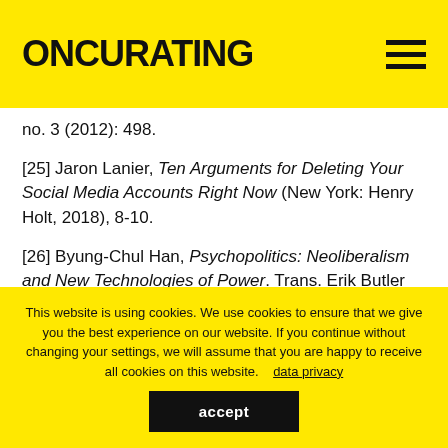ONCURATING
no. 3 (2012): 498.
[25] Jaron Lanier, Ten Arguments for Deleting Your Social Media Accounts Right Now (New York: Henry Holt, 2018), 8-10.
[26] Byung-Chul Han, Psychopolitics: Neoliberalism and New Technologies of Power. Trans. Erik Butler (London and New York: Verso, 2017), 35.
[27] Fredric Jameson, Postmodernism or the
This website is using cookies. We use cookies to ensure that we give you the best experience on our website. If you continue without changing your settings, we will assume that you are happy to receive all cookies on this website.    data privacy
accept